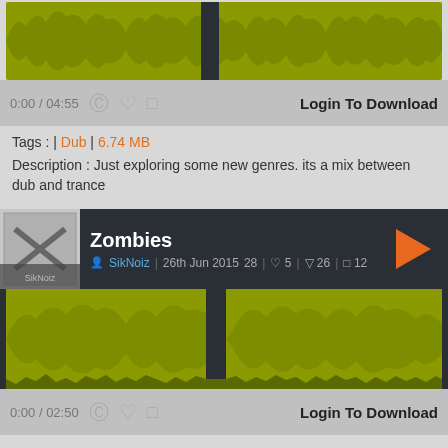[Figure (other): Audio waveform visualization in olive/yellow-green color for first track]
0:00 / 04:55   © ♥ ☐   Login To Download
Tags : | Dub | 6.74 MB
Description : Just exploring some new genres. its a mix between dub and trance
Zombies
SikNoiz | 26th Jun 2015 28 | ♥ 5 | ▼ 26 | ☐ 12
[Figure (other): Audio waveform visualization in olive/yellow-green color for Zombies track]
0:00 / 02:50   © ♥ ☐   Login To Download